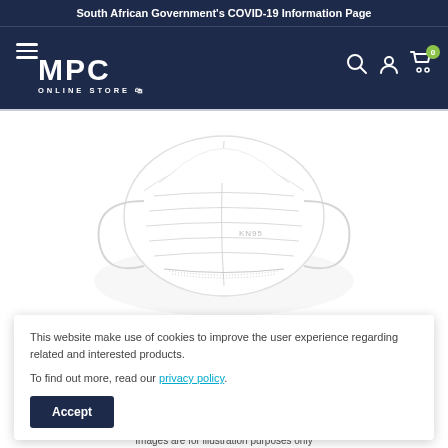South African Government's COVID-19 Information Page
[Figure (logo): MPC Online Store logo with hamburger menu, search, account, and cart icons on dark navy navigation bar]
[Figure (photo): KN95 white face mask product photo on white background]
This website make use of cookies to improve the user experience regarding related and interested products.
To find out more, read our privacy policy.
Images are for illustration purposes only